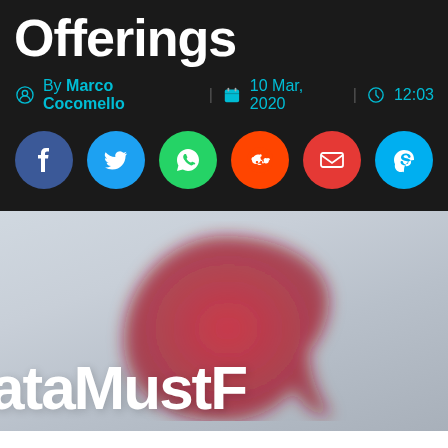Offerings
By Marco Cocomello | 10 Mar, 2020 | 12:03
[Figure (infographic): Social sharing buttons: Facebook, Twitter, WhatsApp, Reddit, Email, Skype]
[Figure (photo): Blurred Vodafone logo (red speech mark icon) on light grey background with white bold text 'dataMustF' visible at bottom]